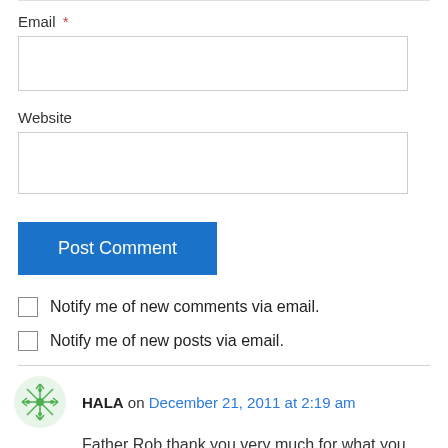Email *
Website
Post Comment
Notify me of new comments via email.
Notify me of new posts via email.
HALA on December 21, 2011 at 2:19 am
Father Rob thank you very much for what you